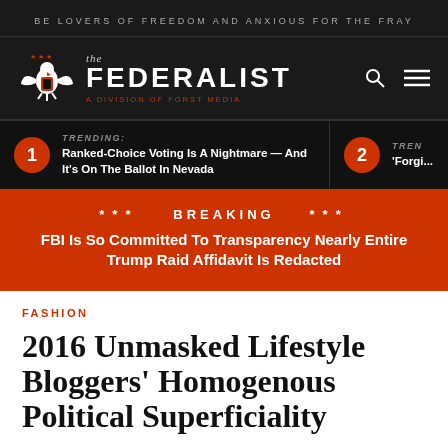BE LOVERS OF FREEDOM AND ANXIOUS FOR THE FRAY
[Figure (logo): The Federalist logo with eagle emblem, site title 'THE FEDERALIST', subtitle 'THE', tagline 'A DIVISION OF FORST MEDIA', search and menu icons]
TRENDING: Ranked-Choice Voting Is A Nightmare — And It's On The Ballot In Nevada
TREN... 'Forgi...
*** BREAKING *** FBI Is So Committed To Transparency Nearly Entire Trump Raid Affidavit Is Redacted
FASHION
2016 Unmasked Lifestyle Bloggers' Homogenous Political Superficiality